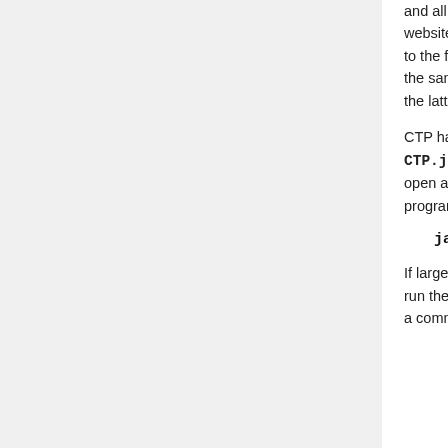and all its components are available on the java.sun.com website. When obtaining the ImageIO Tools, pay close attention to the fact that the Java Advanced Imaging component is not the same as the Java Advanced Imaging ImageIO Tools. Only the latter are required.
CTP has no user interface. It can be run by double-clicking the CTP.jar file, or it can be run in a command window. To do so, open a command window, navigate to the directory in which the program was installed, and enter the command:
java -jar CTP.jar
If large images are to be acquired, it is generally advisable to run the program with a large memory pool. When running from a command window, the